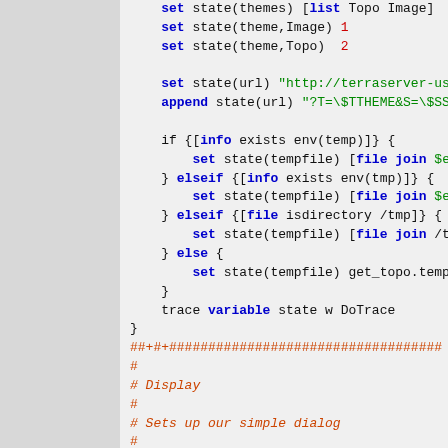[Figure (screenshot): Source code snippet in Tcl/Tk language showing set/append/if/elseif/else/proc/global statements with syntax highlighting (blue keywords, green strings/variables, red numbers, dark red comments)]